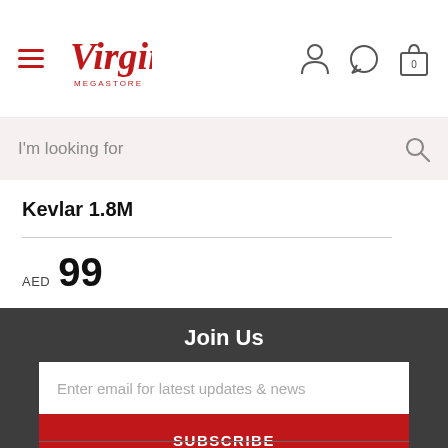Virgin Megastore
I'm looking for
Kevlar 1.8M
AED 99
Join Us
Enter email for latest updates & news
SUBSCRIBE